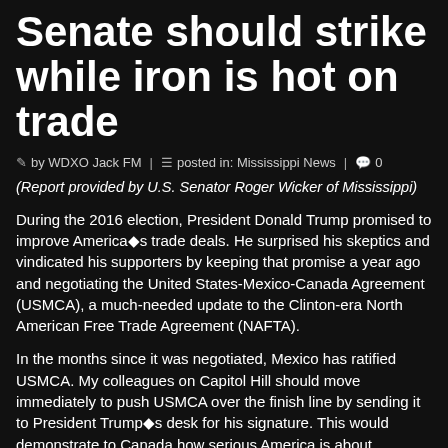Senate should strike while iron is hot on trade
by WDXO Jack FM | posted in: Mississippi News | 0
(Report provided by U.S. Senator Roger Wicker of Mississippi)
During the 2016 election, President Donald Trump promised to improve America■s trade deals. He surprised his skeptics and vindicated his supporters by keeping that promise a year ago and negotiating the United States-Mexico-Canada Agreement (USMCA), a much-needed update to the Clinton-era North American Free Trade Agreement (NAFTA).
In the months since it was negotiated, Mexico has ratified USMCA. My colleagues on Capitol Hill should move immediately to push USMCA over the finish line by sending it to President Trump■s desk for his signature. This would demonstrate to Canada how serious America is about improving our trading relationships, motivating our neighbors to the north to take up USMCA themselves and finalize the deal.